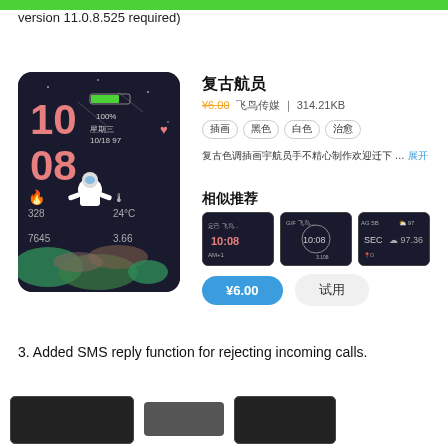version 11.0.8.525 required)
[Figure (screenshot): Smartwatch face showing astronaut theme with time 10:08, date 10/18, steps 328, temperature 24°C, values 7645 and 3.66]
复古航员
¥6.00  飞鸟传媒  314.21KB
插画  黑色  白色  治愈
复古色调插画宇航员手不精心制作欢迎下 … 展开
相似推荐
[Figure (screenshot): Three similar smartwatch face thumbnails]
¥6.00  试用
3. Added SMS reply function for rejecting incoming calls.
[Figure (screenshot): Bottom partial screenshot thumbnails]